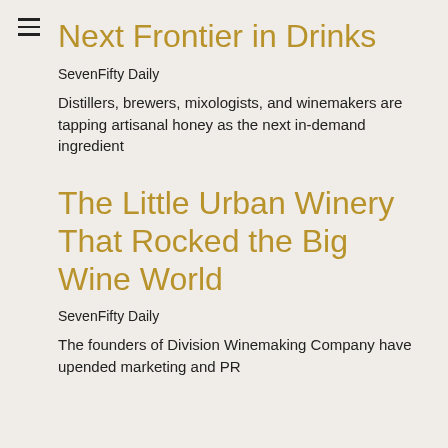Next Frontier in Drinks
SevenFifty Daily
Distillers, brewers, mixologists, and winemakers are tapping artisanal honey as the next in-demand ingredient
The Little Urban Winery That Rocked the Big Wine World
SevenFifty Daily
The founders of Division Winemaking Company have upended marketing and PR